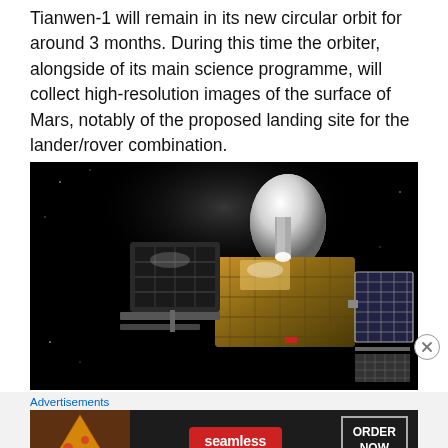Tianwen-1 will remain in its new circular orbit for around 3 months. During this time the orbiter, alongside of its main science programme, will collect high-resolution images of the surface of Mars, notably of the proposed landing site for the lander/rover combination.
[Figure (photo): Photograph of the Tianwen-1 spacecraft against a black background, showing its metallic body with gold thermal insulation, solar panels on the right side, and a shiny nose cone at the top.]
Advertisements
[Figure (infographic): Seamless food delivery advertisement banner showing pizza on the left, Seamless logo in red pill in center, and ORDER NOW button on the right against a dark background.]